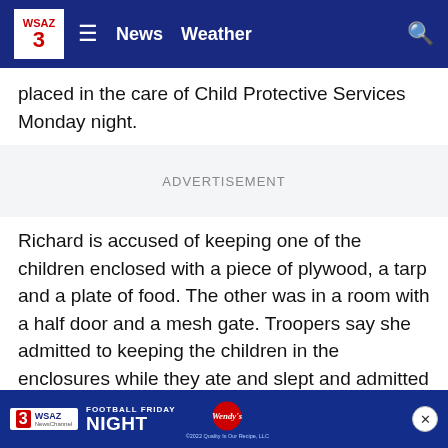WSAZ 3 | News  Weather
placed in the care of Child Protective Services Monday night.
ADVERTISEMENT
Richard is accused of keeping one of the children enclosed with a piece of plywood, a tarp and a plate of food. The other was in a room with a half door and a mesh gate. Troopers say she admitted to keeping the children in the enclosures while they ate and slept and admitted to them that she was unfit to raise children.
Richard...tic.
Family...